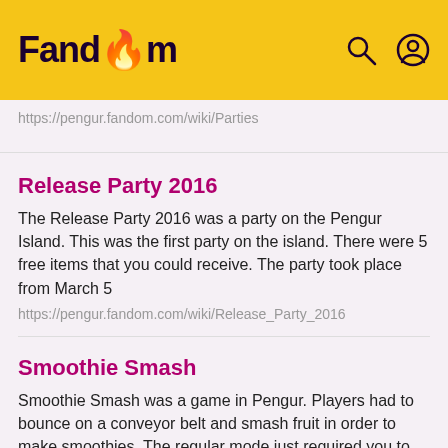Fandom
https://pengur.fandom.com/wiki/Parties
Release Party 2016
The Release Party 2016 was a party on the Pengur Island. This was the first party on the island. There were 5 free items that you could receive. The party took place from March 5
https://pengur.fandom.com/wiki/Release_Party_2016
Smoothie Smash
Smoothie Smash was a game in Pengur. Players had to bounce on a conveyor belt and smash fruit in order to make smoothies. The regular mode just required you to smash the given fruit on
https://pengur.fandom.com/wiki/Smoothie_Smash
Camp Pengur
Camp Pengur was a party on the Pengur Island that took place